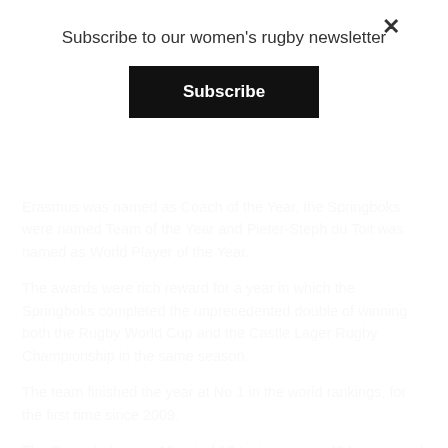Subscribe to our women's rugby newsletter
Subscribe
×
Erasmus was named as Coach of the Year, the Springboks were named Team of the Year and Pieter-Steph du Toit was named as World Player of the Year.
The awards were rich reward for a year in which the Springboks completed the unprecedented double of winning both the Rugby World Cup and the Castle Lager Rugby Championship in the same season.
The team finished the year at No 1 in the world rankings, for the first time since 2009.
The Springboks won 10 out of 12 tests, scoring 424 points and 52 tries and conceding only 129 points and 19 tries – only four of